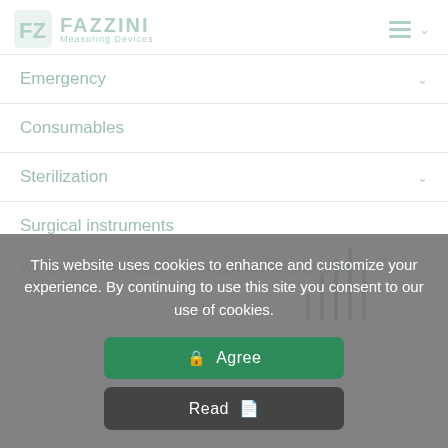[Figure (logo): Fazzini Measuring Devices logo with green cross/F icon and teal text]
Emergency
Consumables
Sterilization
Surgical instruments
You are here: Products / Professional medical devices / Maternity
This website uses cookies to enhance and customize your experience. By continuing to use this site you consent to our use of cookies.
Agree
Read